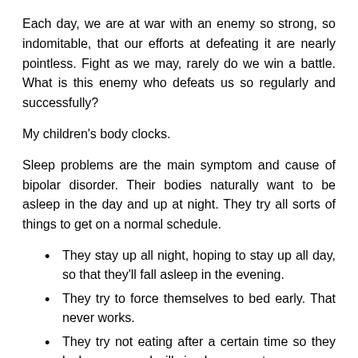Each day, we are at war with an enemy so strong, so indomitable, that our efforts at defeating it are nearly pointless. Fight as we may, rarely do we win a battle. What is this enemy who defeats us so regularly and successfully?
My children's body clocks.
Sleep problems are the main symptom and cause of bipolar disorder. Their bodies naturally want to be asleep in the day and up at night. They try all sorts of things to get on a normal schedule.
They stay up all night, hoping to stay up all day, so that they'll fall asleep in the evening.
They try to force themselves to bed early. That never works.
They try not eating after a certain time so they lack energy and will simply pass out.